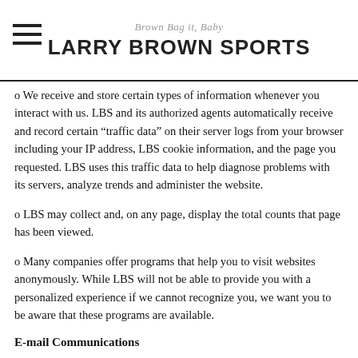Brown Bag it, Baby
LARRY BROWN SPORTS
o We receive and store certain types of information whenever you interact with us. LBS and its authorized agents automatically receive and record certain “traffic data” on their server logs from your browser including your IP address, LBS cookie information, and the page you requested. LBS uses this traffic data to help diagnose problems with its servers, analyze trends and administer the website.
o LBS may collect and, on any page, display the total counts that page has been viewed.
o Many companies offer programs that help you to visit websites anonymously. While LBS will not be able to provide you with a personalized experience if we cannot recognize you, we want you to be aware that these programs are available.
E-mail Communications
LBS is very concerned about your privacy and we will never provide your